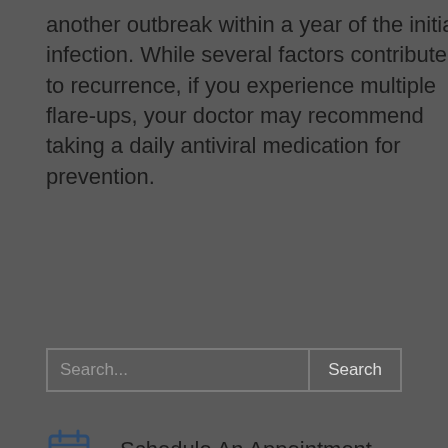another outbreak within a year of the initial infection. While several factors contribute to recurrence, if you experience multiple flare-ups, your doctor may recommend taking a daily antiviral medication for prevention.
Schedule An Appointment
Printable Patient History Form
Order Contacts Online
Customer Satisfaction Survey